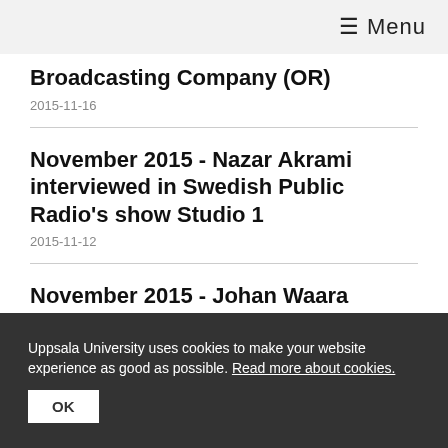≡ Menu
Broadcasting Company (OR)
2015-11-16
November 2015 - Nazar Akrami interviewed in Swedish Public Radio's show Studio 1
2015-11-12
November 2015 - Johan Waara participates in Swedish Public Radio, P4 Uppland
2015-11-11
Uppsala University uses cookies to make your website experience as good as possible. Read more about cookies.